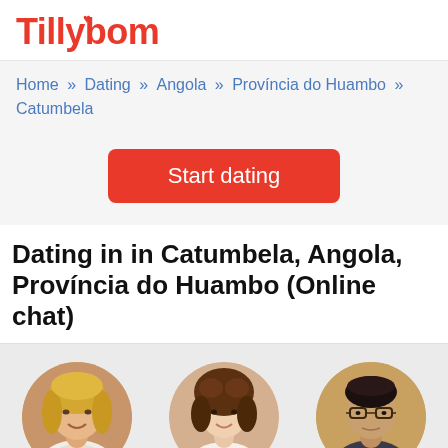Tillybom
Home » Dating » Angola » Província do Huambo » Catumbela
Start dating
Dating in in Catumbela, Angola, Província do Huambo (Online chat)
[Figure (photo): Circular profile photo of Kristin, a woman with blonde hair, smiling]
Kristin, 41
Catumbela
[Figure (photo): Circular profile photo of Ellen, a young woman with dark curly hair, smiling]
Ellen, 75
Catumbela
[Figure (photo): Circular profile photo of Salman, a man wearing glasses]
Salman, 31
Catumbela